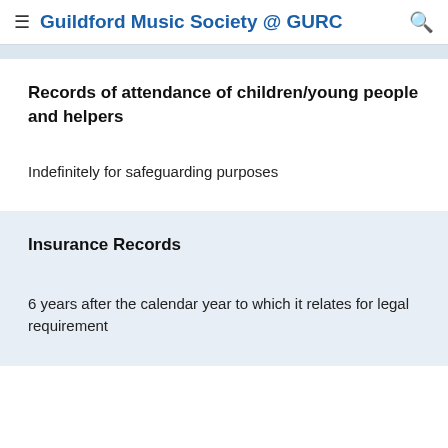≡ Guildford Music Society @ GURC 🔍
Records of attendance of children/young people and helpers
Indefinitely for safeguarding purposes
Insurance Records
6 years after the calendar year to which it relates for legal requirement